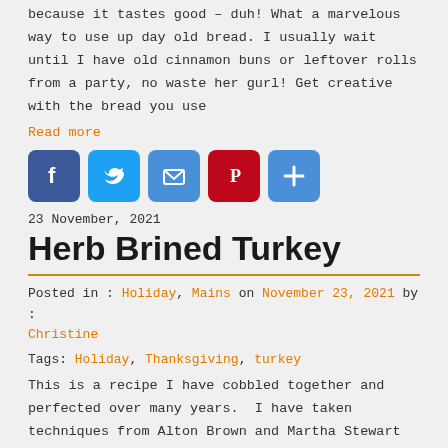because it tastes good – duh! What a marvelous way to use up day old bread. I usually wait until I have old cinnamon buns or leftover rolls from a party, no waste her gurl! Get creative with the bread you use
Read more
[Figure (infographic): Row of five social media share buttons: Facebook (blue), Twitter (light blue), Email (blue), Pinterest (red), Plus/More (blue)]
23 November, 2021
Herb Brined Turkey
Posted in : Holiday, Mains on November 23, 2021 by : Christine
Tags: Holiday, Thanksgiving, turkey
This is a recipe I have cobbled together and perfected over many years.  I have taken techniques from Alton Brown and Martha Stewart to name drop a few. What I have managed to